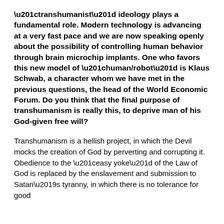“transhumanist” ideology plays a fundamental role. Modern technology is advancing at a very fast pace and we are now speaking openly about the possibility of controlling human behavior through brain microchip implants. One who favors this new model of “human/robot” is Klaus Schwab, a character whom we have met in the previous questions, the head of the World Economic Forum. Do you think that the final purpose of transhumanism is really this, to deprive man of his God-given free will?
Transhumanism is a hellish project, in which the Devil mocks the creation of God by perverting and corrupting it. Obedience to the “easy yoke” of the Law of God is replaced by the enslavement and submission to Satan’s tyranny, in which there is no tolerance for good